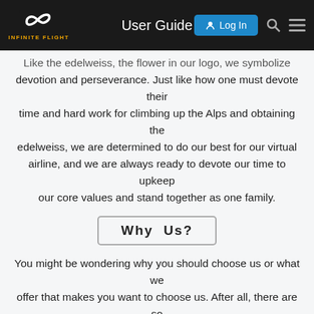User Guide
Like the edelweiss, the flower in our logo, we symbolize devotion and perseverance. Just like how one must devote their time and hard work for climbing up the Alps and obtaining the edelweiss, we are determined to do our best for our virtual airline, and we are always ready to devote our time to upkeep our core values and stand together as one family.
Why Us?
You might be wondering why you should choose us or what we offer that makes you want to choose us. After all, there are so many virtual airlines out there, each offering many kinds of new experiences and opportunities. We respect your thoughts and will explain why it would be the right choice to pick us.
Our Region
Austria is a landlocked country located
1 / 24